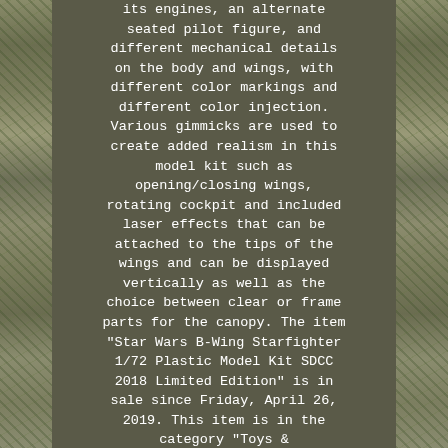its engines, an alternate seated pilot figure, and different mechanical details on the body and wings, with different color markings and different color injection. Various gimmicks are used to create added realism in this model kit such as opening/closing wings, rotating cockpit and included laser effects that can be attached to the tips of the wings and can be displayed vertically as well as the choice between clear or frame parts for the canopy. The item "Star Wars B-Wing Starfighter 1/72 Plastic Model Kit SDCC 2018 Limited Edition" is in sale since Friday, April 26, 2019. This item is in the category "Toys & Hobbies\Models & Kits\Science Fiction\Star Wars".